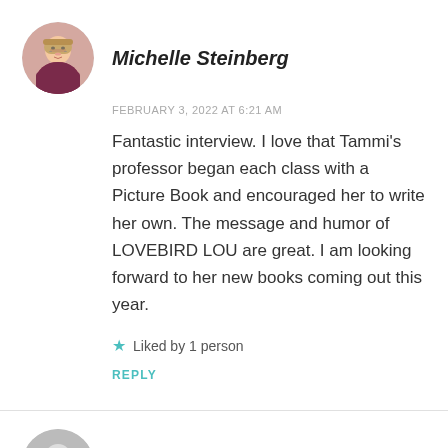[Figure (photo): Circular avatar photo of Michelle Steinberg, a woman with blonde hair and glasses]
Michelle Steinberg
FEBRUARY 3, 2022 AT 6:21 AM
Fantastic interview. I love that Tammi's professor began each class with a Picture Book and encouraged her to write her own. The message and humor of LOVEBIRD LOU are great. I am looking forward to her new books coming out this year.
Liked by 1 person
REPLY
[Figure (photo): Circular avatar photo of Tammi Sauer, partially visible at bottom]
Tammi Sauer